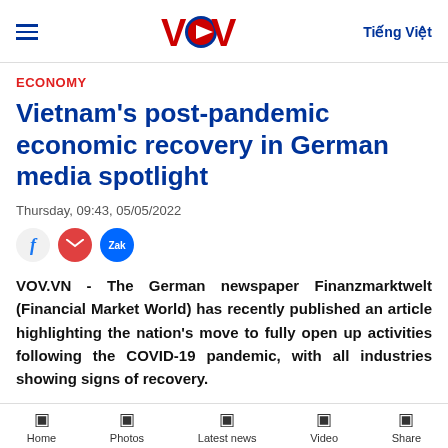VOV — Tiếng Việt
ECONOMY
Vietnam's post-pandemic economic recovery in German media spotlight
Thursday, 09:43, 05/05/2022
[Figure (other): Social sharing icons: Facebook, Email, Zalo]
VOV.VN - The German newspaper Finanzmarktwelt (Financial Market World) has recently published an article highlighting the nation's move to fully open up activities following the COVID-19 pandemic, with all industries showing signs of recovery.
Home   Photos   Latest news   Video   Share